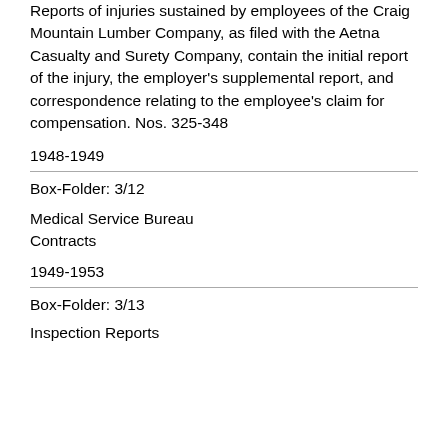Reports of injuries sustained by employees of the Craig Mountain Lumber Company, as filed with the Aetna Casualty and Surety Company, contain the initial report of the injury, the employer's supplemental report, and correspondence relating to the employee's claim for compensation. Nos. 325-348
1948-1949
Box-Folder: 3/12
Medical Service Bureau
Contracts
1949-1953
Box-Folder: 3/13
Inspection Reports